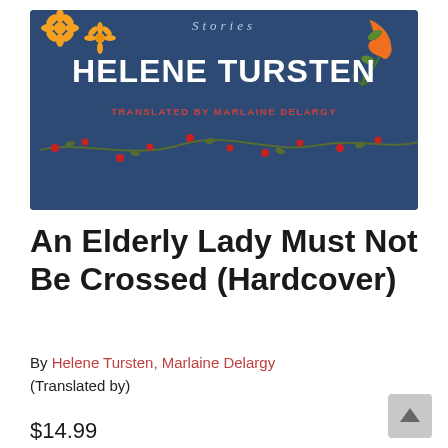[Figure (illustration): Book cover of 'An Elderly Lady Must Not Be Crossed' on a dark navy blue background with floral decorations (orange flowers, red berries on vines, orange trumpet flower). Text reads 'Stories' at top, 'HELENE TURSTEN' in large white bold letters, 'TRANSLATED BY MARLAINE DELARGY' in red.]
An Elderly Lady Must Not Be Crossed (Hardcover)
By Helene Tursten, Marlaine Delargy (Translated by)
$14.99